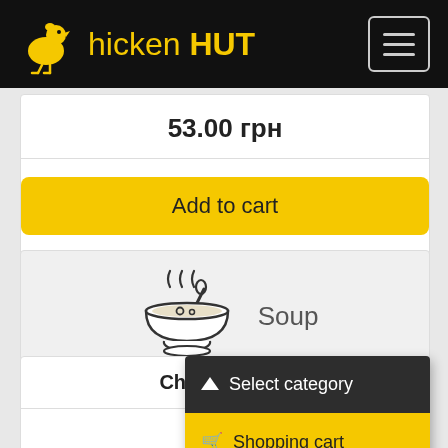Chicken HUT
53.00 грн
Add to cart
[Figure (illustration): Bowl of soup with steam lines and spoon icon, labeled Soup]
Soup
Chicken soup
↑ Select category
🛒 Shopping cart